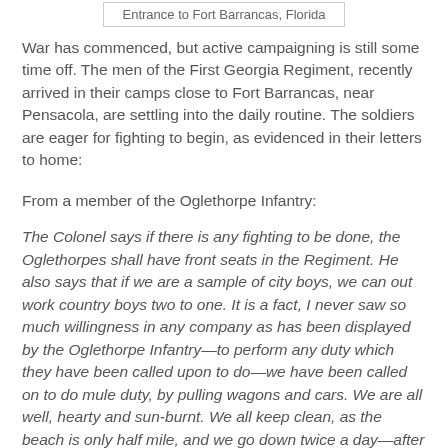Entrance to Fort Barrancas, Florida
War has commenced, but active campaigning is still some time off. The men of the First Georgia Regiment, recently arrived in their camps close to Fort Barrancas, near Pensacola, are settling into the daily routine. The soldiers are eager for fighting to begin, as evidenced in their letters to home:
From a member of the Oglethorpe Infantry:
The Colonel says if there is any fighting to be done, the Oglethorpes shall have front seats in the Regiment. He also says that if we are a sample of city boys, we can out work country boys two to one. It is a fact, I never saw so much willingness in any company as has been displayed by the Oglethorpe Infantry—to perform any duty which they have been called upon to do—we have been called on to do mule duty, by pulling wagons and cars. We are all well, hearty and sun-burnt. We all keep clean, as the beach is only half mile, and we go down twice a day—after reveille and after regiment parade, six P. M. We have a mail daily, and received papers regularly.